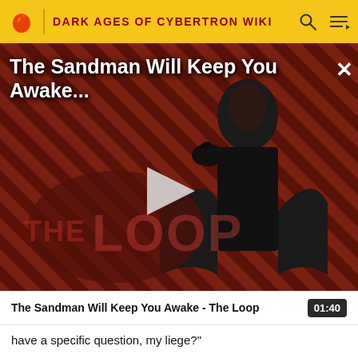DARK AGES OF CYBERTRON WIKI
[Figure (screenshot): Video thumbnail for 'The Sandman Will Keep You Awake...' showing a dark-robed figure against a red diagonal-striped background with 'THE LOOP' logo watermark and a play button overlay]
The Sandman Will Keep You Awake - The Loop  01:40
have a specific question, my liege?"
Ravage works on rubbing the other ear on Soundwave's